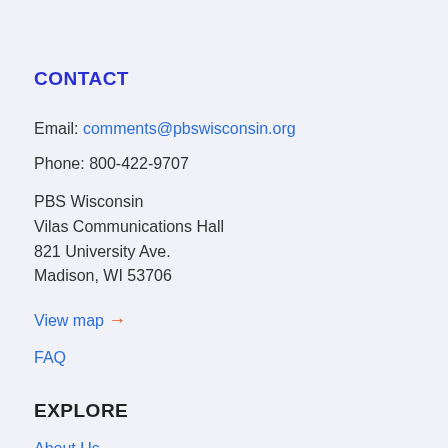CONTACT
Email: comments@pbswisconsin.org
Phone: 800-422-9707
PBS Wisconsin
Vilas Communications Hall
821 University Ave.
Madison, WI 53706
View map →
FAQ
EXPLORE
About Us
Blog